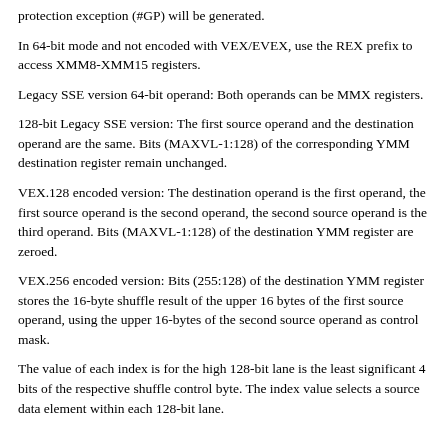protection exception (#GP) will be generated.
In 64-bit mode and not encoded with VEX/EVEX, use the REX prefix to access XMM8-XMM15 registers.
Legacy SSE version 64-bit operand: Both operands can be MMX registers.
128-bit Legacy SSE version: The first source operand and the destination operand are the same. Bits (MAXVL-1:128) of the corresponding YMM destination register remain unchanged.
VEX.128 encoded version: The destination operand is the first operand, the first source operand is the second operand, the second source operand is the third operand. Bits (MAXVL-1:128) of the destination YMM register are zeroed.
VEX.256 encoded version: Bits (255:128) of the destination YMM register stores the 16-byte shuffle result of the upper 16 bytes of the first source operand, using the upper 16-bytes of the second source operand as control mask.
The value of each index is for the high 128-bit lane is the least significant 4 bits of the respective shuffle control byte. The index value selects a source data element within each 128-bit lane.